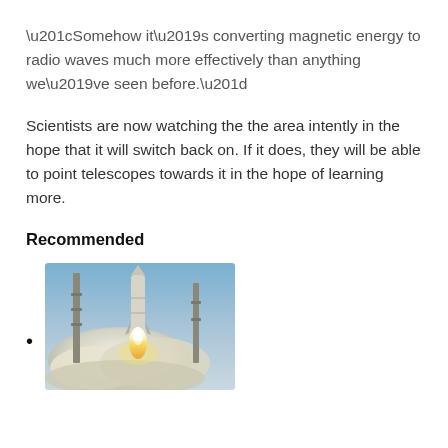“Somehow it’s converting magnetic energy to radio waves much more effectively than anything we’ve seen before.”
Scientists are now watching the the area intently in the hope that it will switch back on. If it does, they will be able to point telescopes towards it in the hope of learning more.
Recommended
[Figure (photo): Rocket launch photo showing a rocket lifting off with bright flames and smoke clouds, with launch tower structures visible against a blue sky]